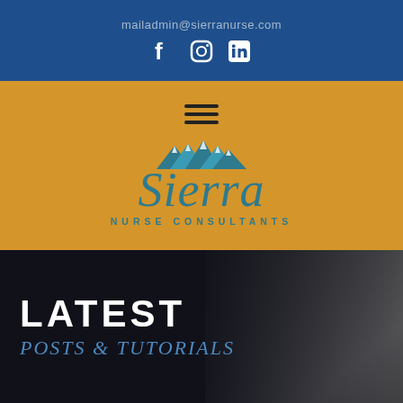mailadmin@sierranurse.com
[Figure (logo): Social media icons: Facebook, Instagram, LinkedIn on dark blue background]
[Figure (logo): Sierra Nurse Consultants logo with mountain graphic on golden/amber background, hamburger menu icon above]
[Figure (photo): Dark overlay background with blurred person in suit on the right side. Text reads LATEST in white bold and POSTS & TUTORIALS in blue italic below.]